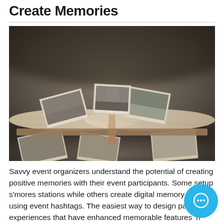Create Memories
[Figure (photo): A sepia-toned photo album open with photographs scattered on and around its pages, viewed from a low angle showing the book spine and pages fanned open.]
Savvy event organizers understand the potential of creating positive memories with their event participants. Some setup s'mores stations while others create digital memory boards using event hashtags. The easiest way to design participant experiences that have enhanced memorable features including photos, videos, aromas, and sound.